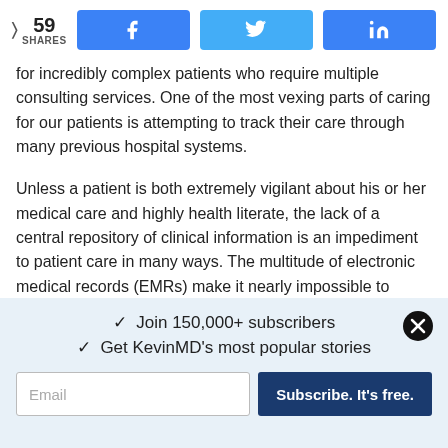59 SHARES | Facebook | Twitter | LinkedIn
for incredibly complex patients who require multiple consulting services. One of the most vexing parts of caring for our patients is attempting to track their care through many previous hospital systems.
Unless a patient is both extremely vigilant about his or her medical care and highly health literate, the lack of a central repository of clinical information is an impediment to patient care in many ways. The multitude of electronic medical records (EMRs) make it nearly impossible to provide efficient, timely and considerate patient care.
[Figure (other): Navigation arrows (left and right) and partial image strip]
✓ Join 150,000+ subscribers
✓ Get KevinMD's most popular stories
Email | Subscribe. It's free.